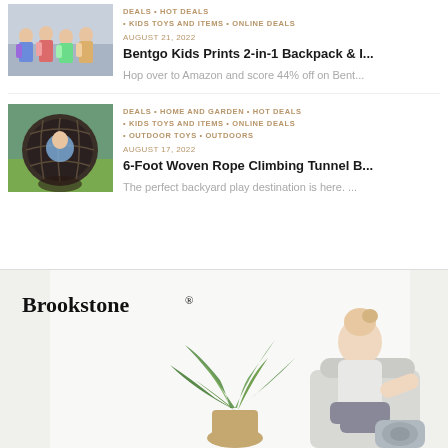[Figure (photo): Children with colorful backpacks, back to school theme]
DEALS • HOT DEALS • KIDS TOYS AND ITEMS • ONLINE DEALS
AUGUST 21, 2022
Bentgo Kids Prints 2-in-1 Backpack & I...
Hop over to Amazon and score 44% off on Bent...
[Figure (photo): Child inside a woven rope climbing tunnel ball in backyard]
DEALS • HOME AND GARDEN • HOT DEALS • KIDS TOYS AND ITEMS • ONLINE DEALS • OUTDOOR TOYS • OUTDOORS
AUGUST 17, 2022
6-Foot Woven Rope Climbing Tunnel B...
The perfect backyard play destination is here. ...
[Figure (photo): Brookstone advertisement with woman relaxing on couch with a massage cushion and a large plant decoration]